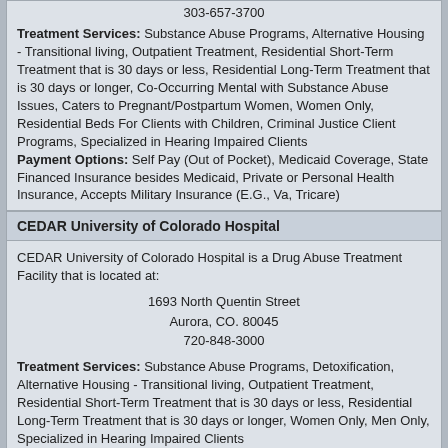303-657-3700
Treatment Services: Substance Abuse Programs, Alternative Housing - Transitional living, Outpatient Treatment, Residential Short-Term Treatment that is 30 days or less, Residential Long-Term Treatment that is 30 days or longer, Co-Occurring Mental with Substance Abuse Issues, Caters to Pregnant/Postpartum Women, Women Only, Residential Beds For Clients with Children, Criminal Justice Client Programs, Specialized in Hearing Impaired Clients
Payment Options: Self Pay (Out of Pocket), Medicaid Coverage, State Financed Insurance besides Medicaid, Private or Personal Health Insurance, Accepts Military Insurance (E.G., Va, Tricare)
CEDAR University of Colorado Hospital
CEDAR University of Colorado Hospital is a Drug Abuse Treatment Facility that is located at:
1693 North Quentin Street
Aurora, CO. 80045
720-848-3000
Treatment Services: Substance Abuse Programs, Detoxification, Alternative Housing - Transitional living, Outpatient Treatment, Residential Short-Term Treatment that is 30 days or less, Residential Long-Term Treatment that is 30 days or longer, Women Only, Men Only, Specialized in Hearing Impaired Clients
Payment Options: Self Pay (Out of Pocket), Private or Personal Health Insurance